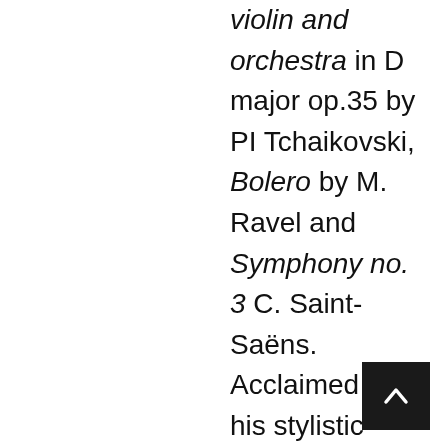violin and orchestra in D major op.35 by PI Tchaikovski, Bolero by M. Ravel and Symphony no. 3 C. Saint-Saëns. Acclaimed for his stylistic awareness and ability to bring every detail of the most complex sheet music to life, Alejo Pérez has enchanted his expertise at the Salzburg Festival, Teatro Colón, Chicago Opera, as well as Japan (Yomiuri Nippon Orchestra / Nikikai Opera ), among other scenarios, earning a safe place in the